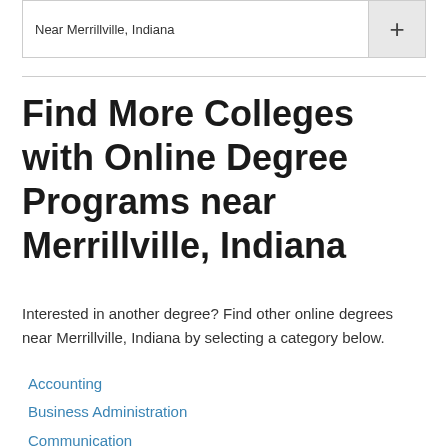Near Merrillville, Indiana
Find More Colleges with Online Degree Programs near Merrillville, Indiana
Interested in another degree? Find other online degrees near Merrillville, Indiana by selecting a category below.
Accounting
Business Administration
Communication